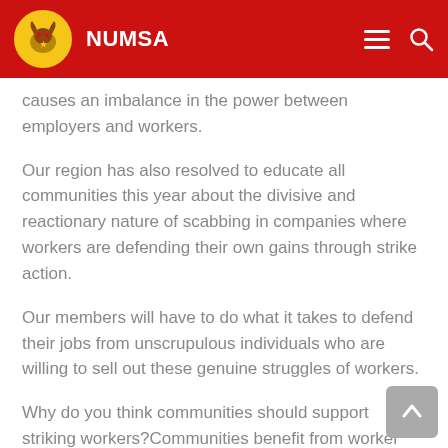NUMSA
causes an imbalance in the power between employers and workers.
Our region has also resolved to educate all communities this year about the divisive and reactionary nature of scabbing in companies where workers are defending their own gains through strike action.
Our members will have to do what it takes to defend their jobs from unscrupulous individuals who are willing to sell out these genuine struggles of workers.
Why do you think communities should support striking workers?Communities benefit from worker struggles to retain existing jobs and create new